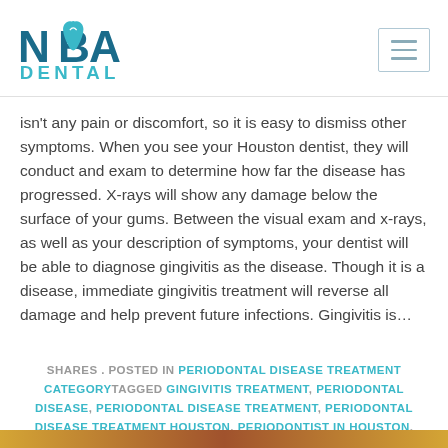NABA DENTAL
isn't any pain or discomfort, so it is easy to dismiss other symptoms. When you see your Houston dentist, they will conduct and exam to determine how far the disease has progressed. X-rays will show any damage below the surface of your gums. Between the visual exam and x-rays, as well as your description of symptoms, your dentist will be able to diagnose gingivitis as the disease. Though it is a disease, immediate gingivitis treatment will reverse all damage and help prevent future infections. Gingivitis is…
SHARES . POSTED IN PERIODONTAL DISEASE TREATMENT CATEGORYTAGGED GINGIVITIS TREATMENT, PERIODONTAL DISEASE, PERIODONTAL DISEASE TREATMENT, PERIODONTAL DISEASE TREATMENT HOUSTON, PERIODONTIST IN HOUSTON, PREGNANCY, PREGNANT . APR 22, 2017